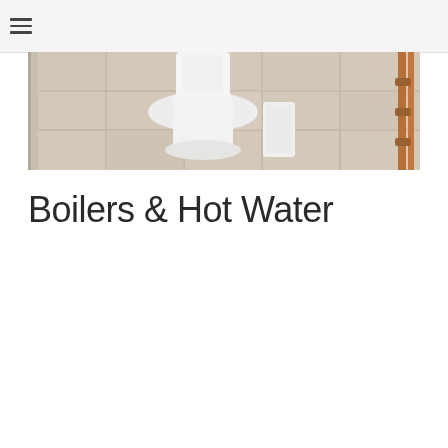☰
[Figure (photo): A bathroom floor scene showing a white toilet base and white fixtures on beige/cream large-format floor tiles, with copper pipes visible on the right edge.]
Boilers & Hot Water